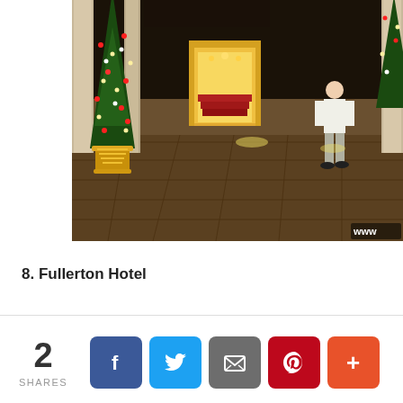[Figure (photo): Hotel entrance at night decorated with Christmas trees in golden pots with red and white flowers and lights. A person walks toward the brightly lit entrance with red carpet stairs. Stone columns frame the scene. Watermark 'www' visible in bottom right corner.]
8. Fullerton Hotel
[Figure (infographic): Social sharing bar showing 2 SHARES with buttons for Facebook, Twitter, Email, Pinterest, and More (+)]